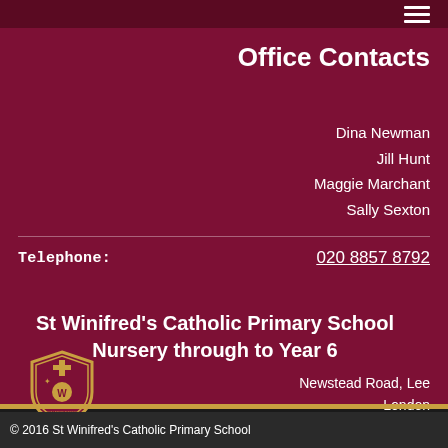Office Contacts
Dina Newman
Jill Hunt
Maggie Marchant
Sally Sexton
Telephone:	020 8857 8792
St Winifred's Catholic Primary School
Nursery through to Year 6
Newstead Road, Lee
London
SE12 0SJ
[Figure (logo): St Winifred's Catholic Primary School crest/shield logo]
Phone:	020 8857 8792
© 2016 St Winifred's Catholic Primary School